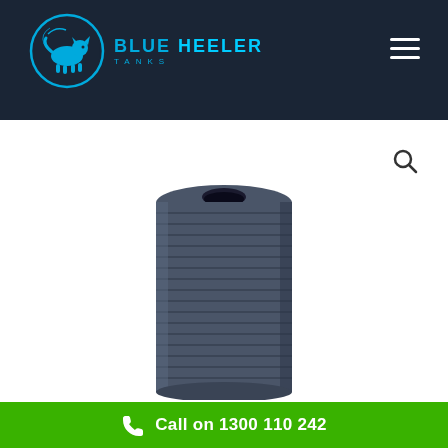[Figure (logo): Blue Heeler Tanks logo with blue dog illustration in circular design and brand name text]
[Figure (photo): Dark gray ribbed cylindrical water tank with circular opening at top, photographed against white background]
Call on 1300 110 242